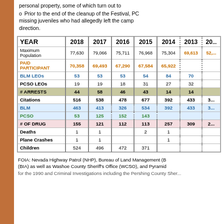Prior to the end of the cleanup of the Festival, PC... missing juveniles who had allegedly left the camp... direction.
Search and Rescue was called out to assist... before they were deployed, PCSO was ad... with all 4 juveniles in the Gerlach area.
| YEAR | 2018 | 2017 | 2016 | 2015 | 2014 | 2013 | 201... |
| --- | --- | --- | --- | --- | --- | --- | --- |
| Maximum Population | 77,630 | 79,066 | 75,711 | 76,968 | 75,304 | 69,613 | 52,... |
| PAID PARTICIPANT | 70,358 | 69,493 | 67,290 | 67,584 | 65,922 |  |  |
| BLM LEOs | 53 | 53 | 53 | 54 | 84 | 70 |  |
| PCSO LEOs | 19 | 19 | 18 | 31 | 27 | 32 |  |
| # ARRESTS | 44 | 58 | 46 | 43 | 14 | 14 |  |
| Citations | 516 | 538 | 478 | 677 | 392 | 433 | 3... |
| BLM | 463 | 413 | 326 | 534 | 392 | 433 | 3... |
| PCSO | 53 | 125 | 152 | 143 |  |  |  |
| # OF DRUG | 155 | 121 | 112 | 113 | 257 | 309 | 2... |
| Deaths | 1 | 1 |  | 2 | 1 |  |  |
| Plane Crashes | 1 | 1 |  |  | 1 |  |  |
| Children | 524 | 496 | 472 | 371 |  |  |  |
FOIA: Nevada Highway Patrol (NHP), Bureau of Land Management (B... (BIA) as well as Washoe County Sheriff's Office (WCSO), and Pyramid... for the 1990 and Criminal Investigations including the Pershing County Sher...